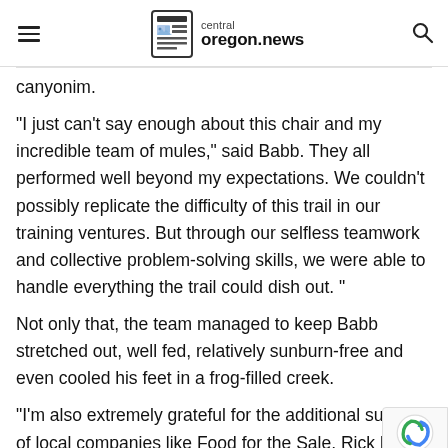central oregon.news
canyonim.
“I just can’t say enough about this chair and my incredible team of mules,” said Babb. They all performed well beyond my expectations. We couldn’t possibly replicate the difficulty of this trail in our training ventures. But through our selfless teamwork and collective problem-solving skills, we were able to handle everything the trail could dish out. ”
Not only that, the team managed to keep Babb stretched out, well fed, relatively sunburn-free and even cooled his feet in a frog-filled creek.
“I’m also extremely grateful for the additional su of local companies like Food for the Sale, Rick Ban